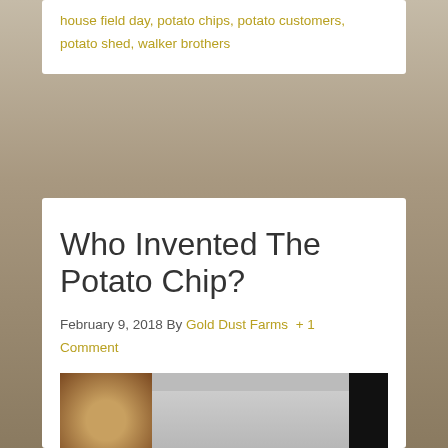house field day, potato chips, potato customers, potato shed, walker brothers
Who Invented The Potato Chip?
February 9, 2018 By Gold Dust Farms + 1 Comment
[Figure (photo): Black and white historical photograph displayed on a screen, showing a man wearing a wide-brimmed hat and a woman standing next to him. On the left side there are images of potatoes.]